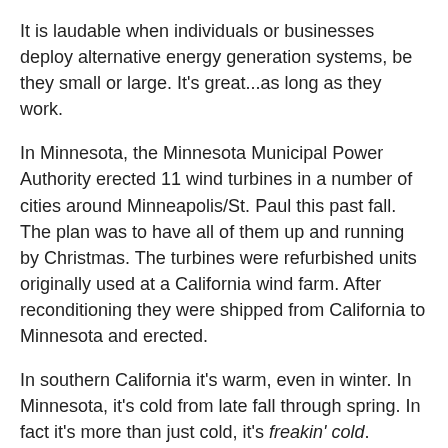It is laudable when individuals or businesses deploy alternative energy generation systems, be they small or large. It's great...as long as they work.
In Minnesota, the Minnesota Municipal Power Authority erected 11 wind turbines in a number of cities around Minneapolis/St. Paul this past fall. The plan was to have all of them up and running by Christmas. The turbines were refurbished units originally used at a California wind farm. After reconditioning they were shipped from California to Minnesota and erected.
In southern California it's warm, even in winter. In Minnesota, it's cold from late fall through spring. In fact it's more than just cold, it's freakin' cold. Apparently the folks in California weren't aware of this fact.
The turbines sit idly in Anoka, North St. Paul, Chaska, Shakopee, Buffalo and six other cities, all members of the Minnesota Municipal Power Agency (MMPA). The refurbished, 115-foot